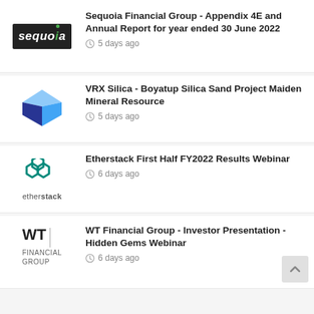[Figure (logo): Sequoia Financial Group logo - white text on dark background]
Sequoia Financial Group - Appendix 4E and Annual Report for year ended 30 June 2022
5 days ago
[Figure (logo): VRX Silica logo - blue 3D diamond/cube shape]
VRX Silica - Boyatup Silica Sand Project Maiden Mineral Resource
5 days ago
[Figure (logo): Etherstack logo - teal hexagon cluster with etherstack text]
Etherstack First Half FY2022 Results Webinar
6 days ago
[Figure (logo): WT Financial Group logo - WT letters with divider and FINANCIAL GROUP text]
WT Financial Group - Investor Presentation - Hidden Gems Webinar
6 days ago